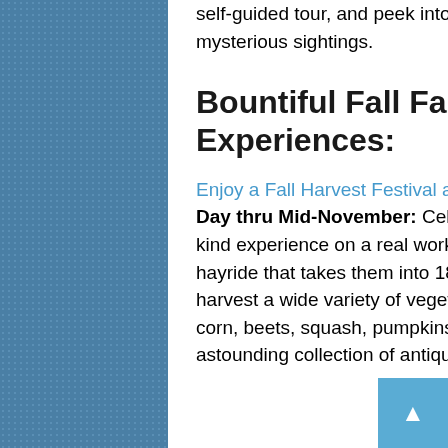self-guided tour, and peek into some of the buildings for mysterious sightings.
Bountiful Fall Farm and Ranch Experiences:
Enjoy a Fall Harvest Festival at Miller Farms, Platteville, Labor Day thru Mid-November: Celebrate the season with a one-of-a-kind experience on a real working farm. Families can enjoy a hayride that takes them into 180-acres of fields where they can harvest a wide variety of vegetables, including potatoes, indian corn, beets, squash, pumpkins and more. The farm also has an astounding collection of antique